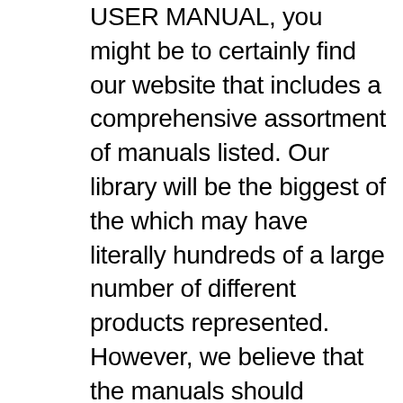USER MANUAL, you might be to certainly find our website that includes a comprehensive assortment of manuals listed. Our library will be the biggest of the which may have literally hundreds of a large number of different products represented. However, we believe that the manuals should include the most important and needed information about Casio 2515, not to discourage the user to read. Obviously, if a device Casio 2515 has multiple advanced functions, we will not avoid a high amount of information in this document. Which information in the manual Casio 2515 should be read?

DescriptionThis is the basic application